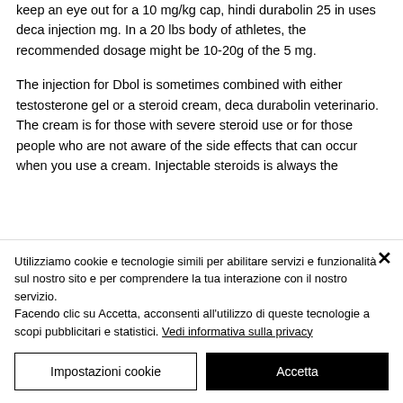keep an eye out for a 10 mg/kg cap, hindi durabolin 25 in uses deca injection mg. In a 20 lbs body of athletes, the recommended dosage might be 10-20g of the 5 mg.
The injection for Dbol is sometimes combined with either testosterone gel or a steroid cream, deca durabolin veterinario. The cream is for those with severe steroid use or for those people who are not aware of the side effects that can occur when you use a cream. Injectable steroids is always the
Utilizziamo cookie e tecnologie simili per abilitare servizi e funzionalità sul nostro sito e per comprendere la tua interazione con il nostro servizio.
Facendo clic su Accetta, acconsenti all'utilizzo di queste tecnologie a scopi pubblicitari e statistici. Vedi informativa sulla privacy
Impostazioni cookie
Accetta